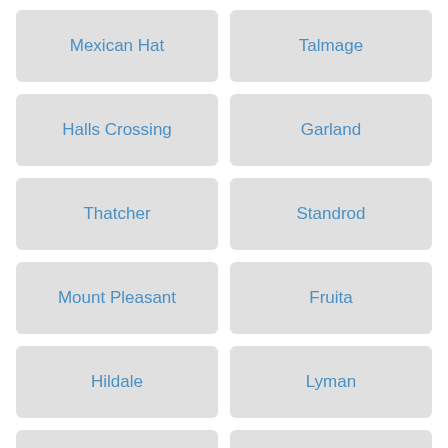Mexican Hat
Talmage
Halls Crossing
Garland
Thatcher
Standrod
Mount Pleasant
Fruita
Hildale
Lyman
Axtell
Mona
Modena
Santa Clara